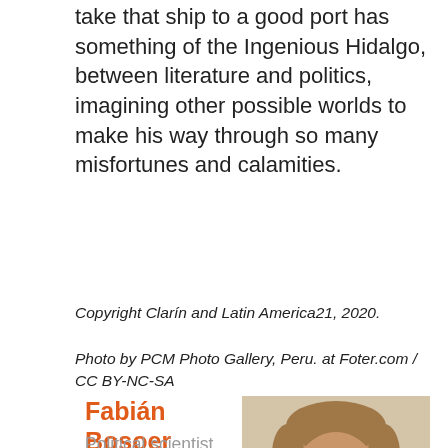take that ship to a good port has something of the Ingenious Hidalgo, between literature and politics, imagining other possible worlds to make his way through so many misfortunes and calamities.
Copyright Clarín and Latin America21, 2020.
Photo by PCM Photo Gallery, Peru. at Foter.com / CC BY-NC-SA
Fabián Bosoer
Political scientist and journalist. Editor-in-chief of Op-ed section at Clarín newspaper. Professor at the Univ. Nacional de Tres de Febrero and guest professor at
[Figure (photo): Headshot photo of Fabián Bosoer, a man with short light brown hair and a beard, wearing casual clothing against a light background.]